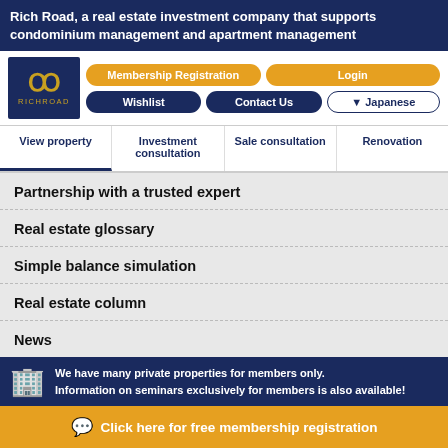Rich Road, a real estate investment company that supports condominium management and apartment management
[Figure (screenshot): RichRoad website navigation with logo, membership registration, login, wishlist, contact us, Japanese language buttons, and menu bar with View property, Investment consultation, Sale consultation, Renovation]
Partnership with a trusted expert
Real estate glossary
Simple balance simulation
Real estate column
News
Privacy Policy
We have many private properties for members only.
Information on seminars exclusively for members is also available!
Click here for free membership registration